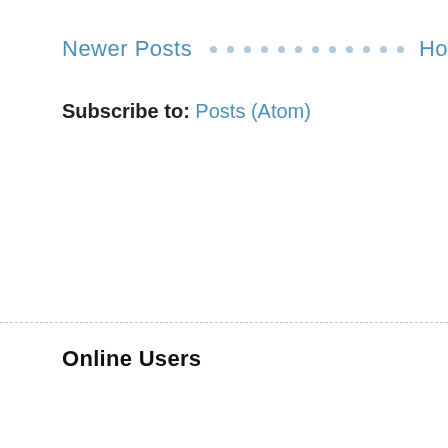Newer Posts · · · · · · · · · · · Ho…
Subscribe to: Posts (Atom)
Online Users